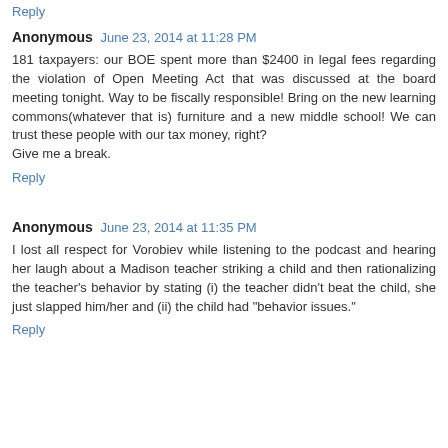Reply
Anonymous  June 23, 2014 at 11:28 PM
181 taxpayers: our BOE spent more than $2400 in legal fees regarding the violation of Open Meeting Act that was discussed at the board meeting tonight. Way to be fiscally responsible! Bring on the new learning commons(whatever that is) furniture and a new middle school! We can trust these people with our tax money, right?
Give me a break.
Reply
Anonymous  June 23, 2014 at 11:35 PM
I lost all respect for Vorobiev while listening to the podcast and hearing her laugh about a Madison teacher striking a child and then rationalizing the teacher's behavior by stating (i) the teacher didn't beat the child, she just slapped him/her and (ii) the child had "behavior issues."
Reply